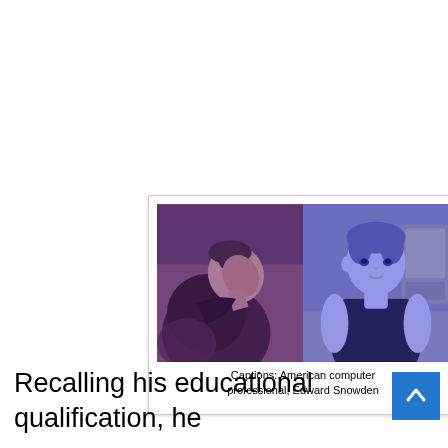[Figure (photo): Two side-by-side photos of Edward Snowden with purple/blue tint overlay. Left: person in profile wearing glasses and leather jacket looking up. Right: young person in dark sleeveless top facing camera.]
Captions: American computer professional, Edward Snowden
Recalling his educational qualification, he